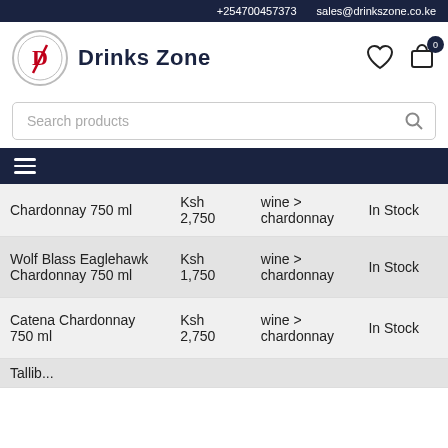+254700457373   sales@drinkszone.co.ke
Drinks Zone
Search products
| Name | Price | Category | Stock |
| --- | --- | --- | --- |
| Chardonnay 750 ml | Ksh 2,750 | wine > chardonnay | In Stock |
| Wolf Blass Eaglehawk Chardonnay 750 ml | Ksh 1,750 | wine > chardonnay | In Stock |
| Catena Chardonnay 750 ml | Ksh 2,750 | wine > chardonnay | In Stock |
| ... |  |  |  |